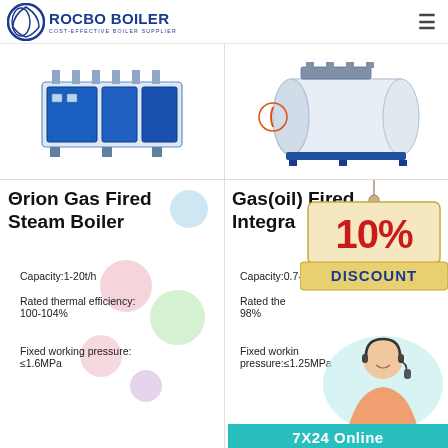ROCBO BOILER - COST-EFFECTIVE BOILER SUPPLIER
[Figure (photo): Blue industrial gas fired steam boiler unit (Θrion series) on white background]
[Figure (photo): White cylindrical gas/oil fired integrated steam boiler on blue frame]
Θrion Gas Fired Steam Boiler
Capacity:1-20t/h
Rated thermal efficiency: 100-104%
Fixed working pressure: ≤1.6MPa
Gas(oil) Fired Integrated [Boiler]
[Figure (other): 10% DISCOUNT promotional sign overlay]
Capacity:0.7-...
Rated thermal efficiency: 98%
Fixed working pressure:≤1.25MPa
[Figure (photo): Customer service agent with headset (chat/online support photo)]
7X24 Online